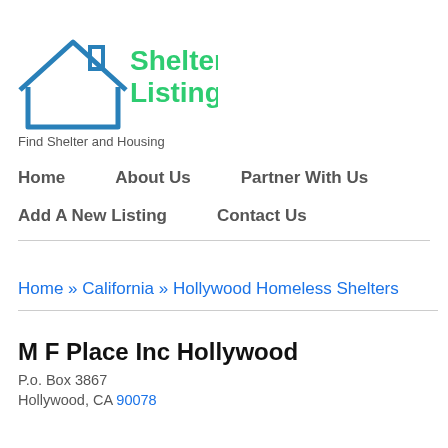[Figure (logo): ShelterListings.org logo with house icon in blue outline and green text]
Find Shelter and Housing
Home   About Us   Partner With Us
Add A New Listing   Contact Us
Home » California » Hollywood Homeless Shelters
M F Place Inc Hollywood
P.o. Box 3867
Hollywood, CA 90078